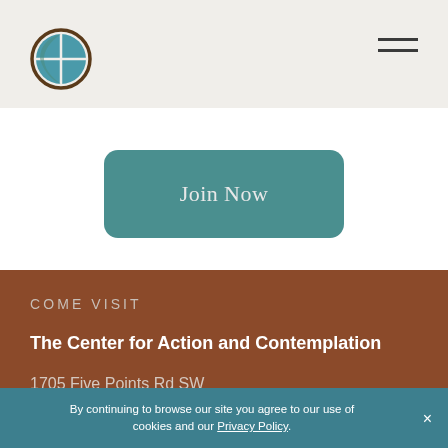[Figure (logo): Circular globe-cross logo with teal and brown colors]
[Figure (other): Hamburger menu icon with three horizontal lines]
Join Now
COME VISIT
The Center for Action and Contemplation
1705 Five Points Rd SW
By continuing to browse our site you agree to our use of cookies and our Privacy Policy.